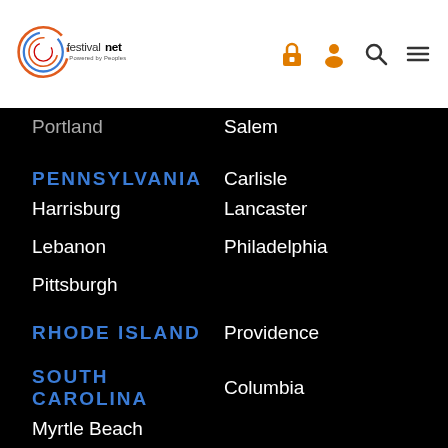[Figure (logo): FestivalNet logo - colorful circular logo with festivalnet text, powered by Peoples tagline]
Portland
Salem
PENNSYLVANIA
Carlisle
Harrisburg
Lancaster
Lebanon
Philadelphia
Pittsburgh
RHODE ISLAND
Providence
SOUTH CAROLINA
Columbia
Myrtle Beach
SOUTH DAKOTA
Sioux Falls
TENNESSEE
Knoxville